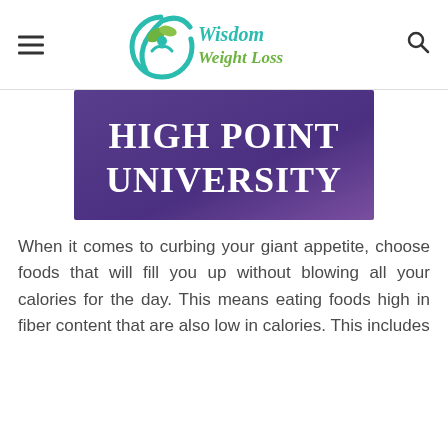Wisdom Weight Loss — navigation header with hamburger menu and search icon
[Figure (logo): High Point University logo — white serif text on purple/violet gradient background reading 'HIGH POINT UNIVERSITY']
When it comes to curbing your giant appetite, choose foods that will fill you up without blowing all your calories for the day. This means eating foods high in fiber content that are also low in calories. This includes